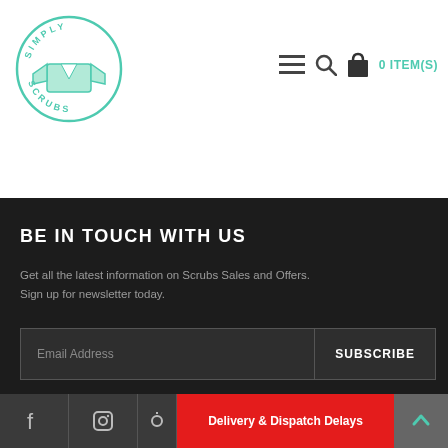[Figure (logo): Simply Scrubs circular logo with teal scrubs top icon and circular text reading SIMPLY SCRUBS]
[Figure (illustration): Navigation icons: hamburger menu, search magnifier, shopping bag, and 0 ITEM(S) text in teal]
BE IN TOUCH WITH US
Get all the latest information on Scrubs Sales and Offers. Sign up for newsletter today.
[Figure (other): Email address input field with SUBSCRIBE button]
[Figure (other): Social media icons row: Facebook, Instagram, and others with red Delivery & Dispatch Delays notification bar and scroll-to-top arrow button]